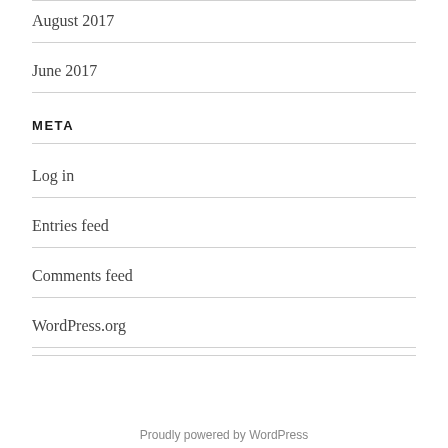August 2017
June 2017
META
Log in
Entries feed
Comments feed
WordPress.org
Proudly powered by WordPress